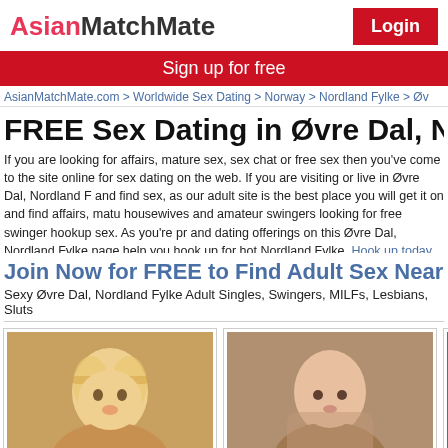AsianMatchMate | Login
Sign up for free
AsianMatchMate.com > Worldwide Sex Dating > Norway > Nordland Fylke > Øv
FREE Sex Dating in Øvre Dal, N
If you are looking for affairs, mature sex, sex chat or free sex then you've come to the site online for sex dating on the web. If you are visiting or live in Øvre Dal, Nordland F and find sex, as our adult site is the best place you will get it on and find affairs, matu housewives and amateur swingers looking for free swinger hookup sex. As you're pr and dating offerings on this Øvre Dal, Nordland Fylke page help you hook up for hot Nordland Fylke. Hook up today >>
Join Now for FREE to Find Adult Sex Near Øv
Sexy Øvre Dal, Nordland Fylke Adult Singles, Swingers, MILFs, Lesbians, Sluts
[Figure (photo): Profile photo of redhead0321]
[Figure (photo): Profile photo of flirtnwithfire]
[Figure (photo): Profile photo of hona82]